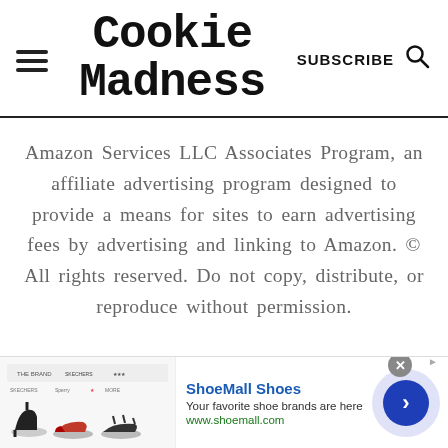Cookie Madness — SUBSCRIBE
Amazon Services LLC Associates Program, an affiliate advertising program designed to provide a means for sites to earn advertising fees by advertising and linking to Amazon. © All rights reserved. Do not copy, distribute, or reproduce without permission.
[Figure (infographic): ShoeMall Shoes advertisement banner with shoe images, title 'ShoeMall Shoes', description 'Your favorite shoe brands are here', URL 'www.shoemall.com', and a blue navigation arrow button.]